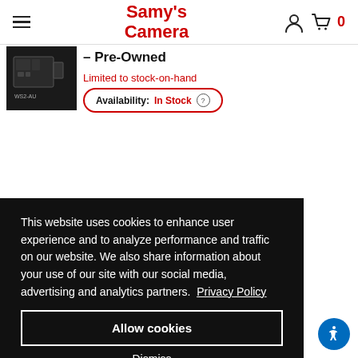Samy's Camera
– Pre-Owned
Limited to stock-on-hand
Availability: In Stock
This website uses cookies to enhance user experience and to analyze performance and traffic on our website. We also share information about your use of our site with our social media, advertising and analytics partners. Privacy Policy
Allow cookies
Dismiss
Cookie Preferences
00
art
w/12 month special
More
ping